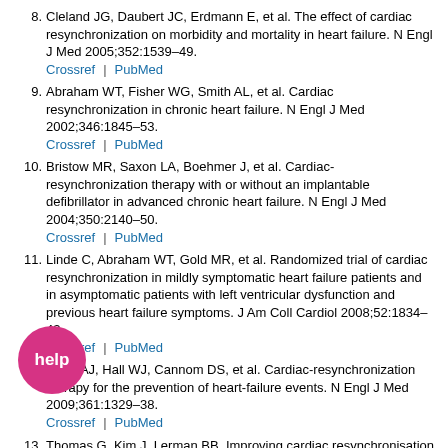8. Cleland JG, Daubert JC, Erdmann E, et al. The effect of cardiac resynchronization on morbidity and mortality in heart failure. N Engl J Med 2005;352:1539–49. Crossref | PubMed
9. Abraham WT, Fisher WG, Smith AL, et al. Cardiac resynchronization in chronic heart failure. N Engl J Med 2002;346:1845–53. Crossref | PubMed
10. Bristow MR, Saxon LA, Boehmer J, et al. Cardiac-resynchronization therapy with or without an implantable defibrillator in advanced chronic heart failure. N Engl J Med 2004;350:2140–50. Crossref | PubMed
11. Linde C, Abraham WT, Gold MR, et al. Randomized trial of cardiac resynchronization in mildly symptomatic heart failure patients and in asymptomatic patients with left ventricular dysfunction and previous heart failure symptoms. J Am Coll Cardiol 2008;52:1834–43. Crossref | PubMed
12. Moss AJ, Hall WJ, Cannom DS, et al. Cardiac-resynchronization therapy for the prevention of heart-failure events. N Engl J Med 2009;361:1329–38. Crossref | PubMed
13. Thomas G, Kim J, Lerman BB. Improving cardiac resynchronisation therapy. Arrhythm Electrophysiol Rev 2019;8:220–7. | PubMed
14. [partially obscured] W, Grimm RA, Verga T, et al. Insights from a cardiac resynchronization optimization clinic as part of a heart failure disease management program. J Am Coll Cardiol 2009;53:765–73.